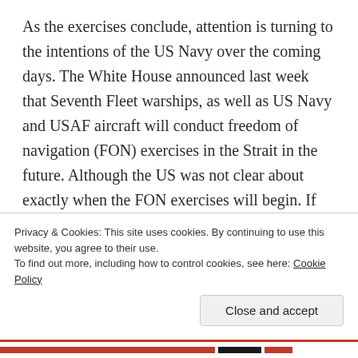As the exercises conclude, attention is turning to the intentions of the US Navy over the coming days. The White House announced last week that Seventh Fleet warships, as well as US Navy and USAF aircraft will conduct freedom of navigation (FON) exercises in the Strait in the future. Although the US was not clear about exactly when the FON exercises will begin. If they do not start for another week or longer, there’s potential damage to US credibility in the region. Beijing can say the US was deliberately waiting until China concluded exercises and its warships returned home before moving
Privacy & Cookies: This site uses cookies. By continuing to use this website, you agree to their use.
To find out more, including how to control cookies, see here: Cookie Policy
Close and accept